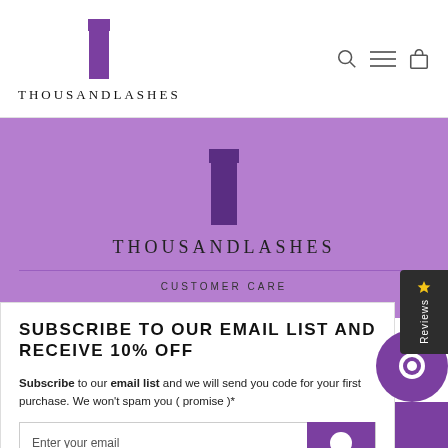[Figure (logo): ThousandLashes logo with T lettermark and brand name in header]
[Figure (logo): ThousandLashes logo with T lettermark and brand name on purple banner background]
CUSTOMER CARE
SUBSCRIBE TO OUR EMAIL LIST AND RECEIVE 10% OFF
Subscribe to our email list and we will send you code for your first purchase. We won't spam you ( promise )*
Enter your email
ADD TO CART